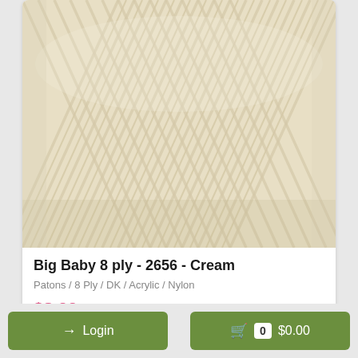[Figure (photo): Close-up photo of cream/off-white yarn wound in a ball, showing the herringbone/chevron texture of the yarn strands]
Big Baby 8 ply - 2656 - Cream
Patons / 8 Ply / DK / Acrylic / Nylon
$8.00
Login
0 $0.00